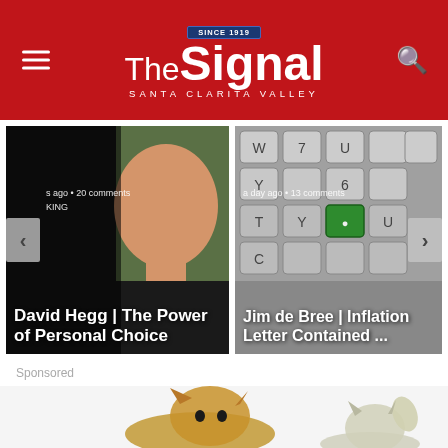The Signal – Santa Clarita Valley (since 1919)
[Figure (photo): Carousel card left: headshot of bald man smiling outdoors. Overlay text: 's ago • 20 comments' and 'David Hegg | The Power of Personal Choice']
[Figure (photo): Carousel card right: close-up of computer keyboard keys. Overlay text: 'a day ago • 13 comments' and 'Jim de Bree | Inflation Letter Contained ...']
Sponsored
[Figure (photo): Sponsored advertisement showing two cats on white background — one tabby cat looking right, another cat with raised paw on the right side.]